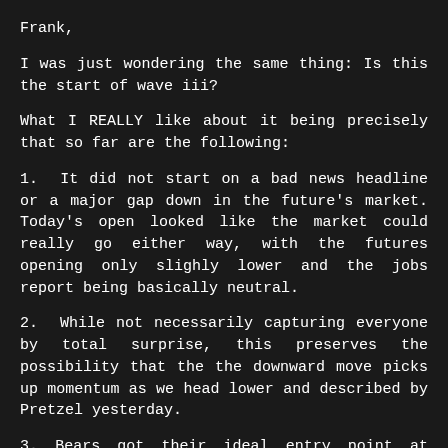Frank,
I was just wondering the same thing: Is this the start of wave iii?
What I REALLY like about it being precisely that so far are the following:
1. It did not start on a bad news headline or a major gap down in the future's market. Today's open looked like the market could really go either way, with the futures opening only slighly lower and the jobs report being basically neutral.
2. While not necessarily capturing everyone by total surprise, this preserves the possibility that the the downward move picks up momentum as we head lower and described by Pretzel yesterday.
3. Bears got their ideal entry point at around 1,250, which what I believed they wanted.